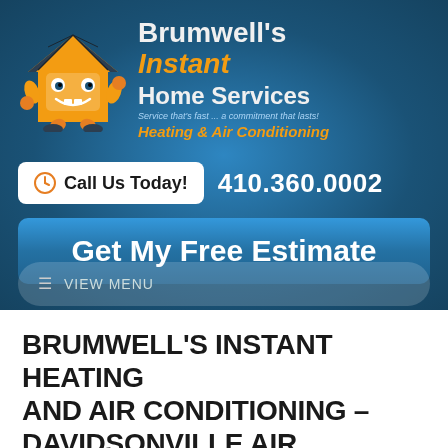[Figure (logo): Brumwell's Instant Home Services logo with cartoon house mascot, company name in blue and orange, tagline 'Service that's fast ... a commitment that lasts!', and 'Heating & Air Conditioning' subtitle]
Call Us Today!  410.360.0002
Get My Free Estimate
☰  VIEW MENU
BRUMWELL'S INSTANT HEATING AND AIR CONDITIONING – DAVIDSONVILLE AIR